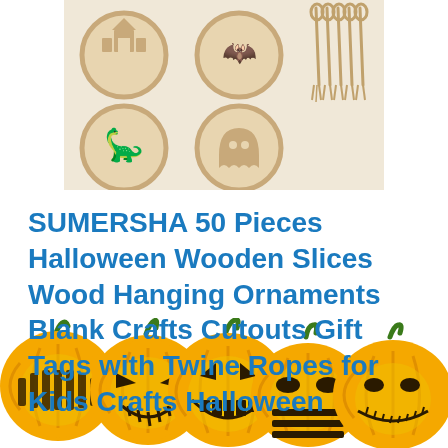[Figure (photo): Halloween wooden slices ornaments — circular wooden cutouts with Halloween figures (witch, ghost, dinosaur) and jute twine ropes, arranged on a light beige background]
SUMERSHA 50 Pieces Halloween Wooden Slices Wood Hanging Ornaments Blank Crafts Cutouts Gift Tags with Twine Ropes for Kids Crafts Halloween
[Figure (photo): Row of five glowing carved Halloween jack-o-lantern pumpkins with orange bodies and green stems across the bottom of the page]